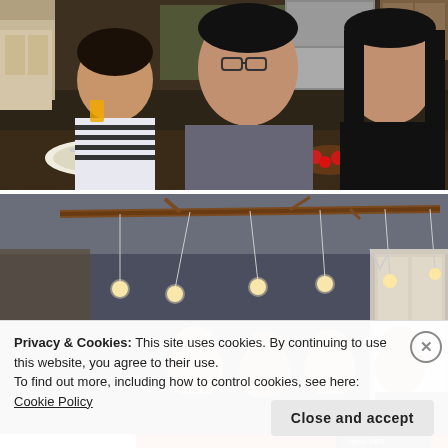[Figure (photo): Indoor dining scene: a child in striped shirt drinking juice on the left, an adult man in grey long-sleeve shirt in the center, and a woman in black top on the right, seated at a table with plates, food and a wine glass]
[Figure (photo): Interior room photo showing a rustic branch chandelier with hanging Edison bulbs suspended from the ceiling, with a group of people visible in the background below]
Privacy & Cookies: This site uses cookies. By continuing to use this website, you agree to their use.
To find out more, including how to control cookies, see here: Cookie Policy
Close and accept